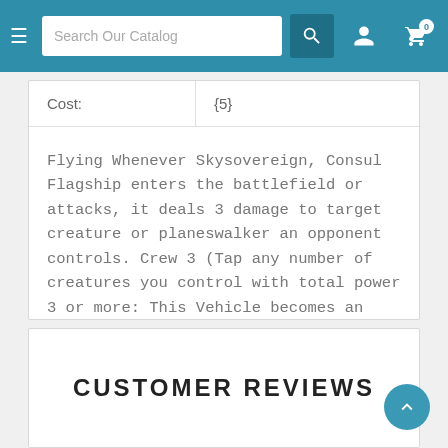Search Our Catalog
| Cost: | {5} |
| --- | --- |
Flying Whenever Skysovereign, Consul Flagship enters the battlefield or attacks, it deals 3 damage to target creature or planeswalker an opponent controls. Crew 3 (Tap any number of creatures you control with total power 3 or more: This Vehicle becomes an artifact creature until end of turn.)
CUSTOMER REVIEWS